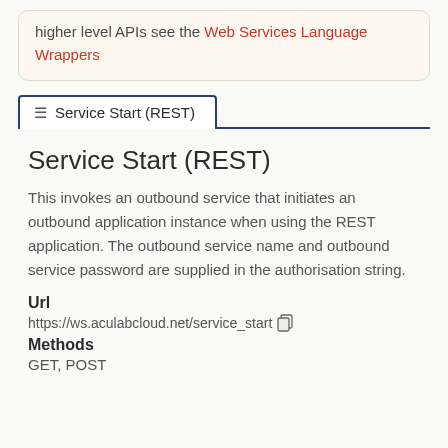higher level APIs see the Web Services Language Wrappers
≡ Service Start (REST)
Service Start (REST)
This invokes an outbound service that initiates an outbound application instance when using the REST application. The outbound service name and outbound service password are supplied in the authorisation string.
Url
https://ws.aculabcloud.net/service_start
Methods
GET, POST